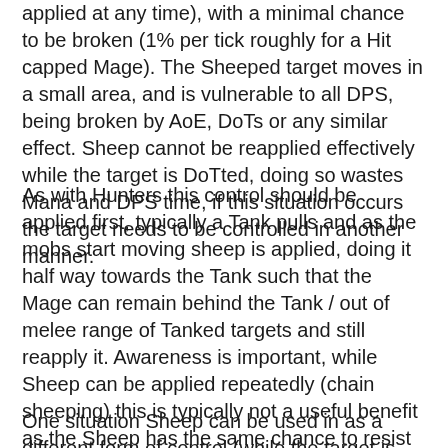applied at any time), with a minimal chance to be broken (1% per tick roughly for a Hit capped Mage). The Sheeped target moves in a small area, and is vulnerable to all DPS, being broken by AoE, DoTs or any similar effect. Sheep cannot be reapplied effectively while the target is DoTted, doing so wastes Mana and DPS time, if this situation occurs the target needs to be controlled in another manner.
As with Hunters this control should be applied first, typically a Tank pulls and as the mobs start moving sheep is applied, doing it half way towards the Tank such that the Mage can remain behind the Tank / out of melee range of Tanked targets and still reapply it. Awareness is important, while Sheep can be applied repeatedly (chain sheeping) this is typically not a useful benefit as the Sheep has the same chance to resist and break the Sheep irrespective of when cast, it simply reduces the chance the target gets free without a Sheep being cast on it. An aware Mage could be applying DPS to another target rather than performing the "chain sheep lol" manoeuvre.
One situation Sheep can be used in as a different form of control (while the target is tanked, or under the effect of DoTs